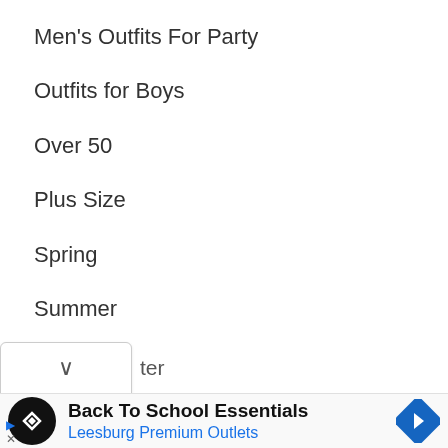Men's Outfits For Party
Outfits for Boys
Over 50
Plus Size
Spring
Summer
Trends
tor
Back To School Essentials
Leesburg Premium Outlets